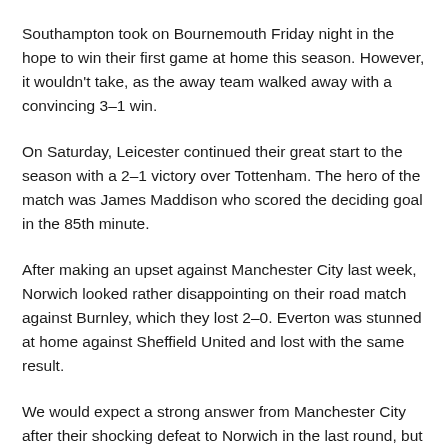Southampton took on Bournemouth Friday night in the hope to win their first game at home this season. However, it wouldn't take, as the away team walked away with a convincing 3–1 win.
On Saturday, Leicester continued their great start to the season with a 2–1 victory over Tottenham. The hero of the match was James Maddison who scored the deciding goal in the 85th minute.
After making an upset against Manchester City last week, Norwich looked rather disappointing on their road match against Burnley, which they lost 2–0. Everton was stunned at home against Sheffield United and lost with the same result.
We would expect a strong answer from Manchester City after their shocking defeat to Norwich in the last round, but not...